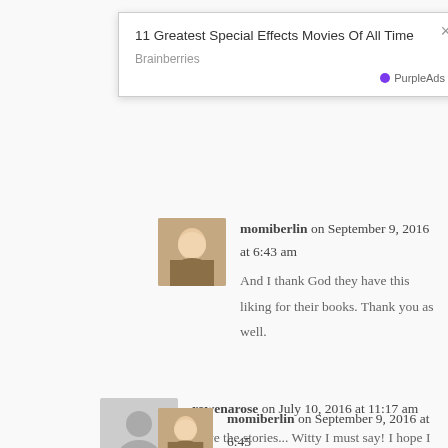[Figure (other): Advertisement popup with close button showing '11 Greatest Special Effects Movies Of All Time' from Brainberries, with PurpleAds branding]
momiberlin on September 9, 2016 at 6:43 am
And I thank God they have this liking for their books. Thank you as well.
rowenarose on July 10, 2016 at 11:17 am
Love the stories... Witty I must say! I hope I can keep stories like this so that I can read this to my kids
momiberlin on September 9, 2016 at 6:45